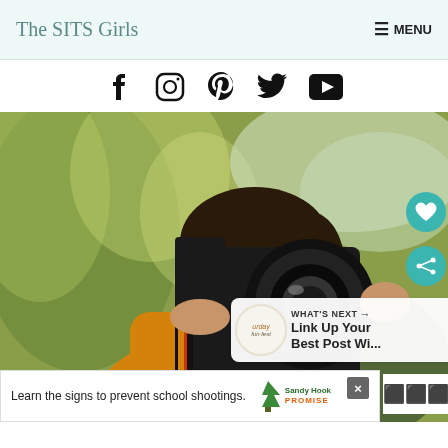The SITS Girls  ≡ MENU
[Figure (infographic): Social media icons: Facebook, Instagram, Pinterest, Twitter, YouTube]
[Figure (photo): Woman holding a Canon DSLR camera up to her face, wearing an orange/yellow turtleneck sweater, with blurred green foliage background. Side buttons: heart (like) and share. 'WHAT'S NEXT → Link Up Your Best Post Wi...' overlay in bottom right.]
Learn the signs to prevent school shootings.
[Figure (logo): Sandy Hook Promise logo with green tree icon]